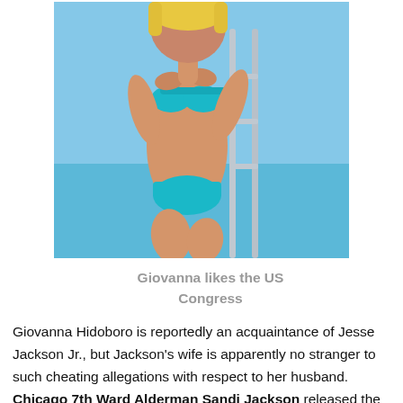[Figure (photo): Woman in blue bikini posing near a pool railing]
Giovanna likes the US Congress
Giovanna Hidoboro is reportedly an acquaintance of Jesse Jackson Jr., but Jackson's wife is apparently no stranger to such cheating allegations with respect to her husband. Chicago 7th Ward Alderman Sandi Jackson released the following statement: Today's public disclosure is not new and is one that my family and I have been privately addressing for two years. Therefore, I would hope that the